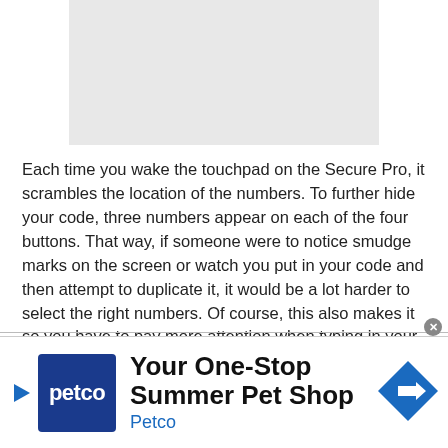[Figure (other): Gray placeholder image area at top of page]
Each time you wake the touchpad on the Secure Pro, it scrambles the location of the numbers. To further hide your code, three numbers appear on each of the four buttons. That way, if someone were to notice smudge marks on the screen or watch you put in your code and then attempt to duplicate it, it would be a lot harder to select the right numbers. Of course, this also makes it so you have to pay more attention when typing in your code as you won't be able to rely on muscle memory.
[Figure (other): Petco advertisement banner: 'Your One-Stop Summer Pet Shop' with Petco logo and navigation arrow icon]